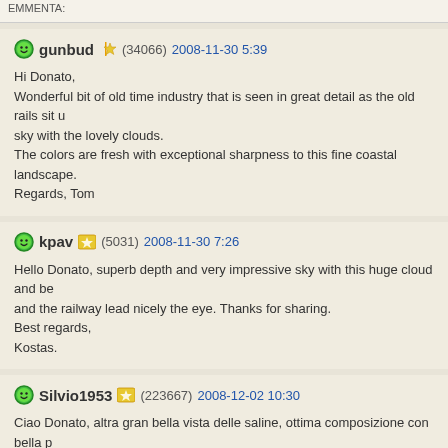EMMENTA:
gunbud (34066) 2008-11-30 5:39
Hi Donato,
Wonderful bit of old time industry that is seen in great detail as the old rails sit u sky with the lovely clouds.
The colors are fresh with exceptional sharpness to this fine coastal landscape.
Regards, Tom
kpav (5031) 2008-11-30 7:26
Hello Donato, superb depth and very impressive sky with this huge cloud and be and the railway lead nicely the eye. Thanks for sharing.
Best regards,
Kostas.
Silvio1953 (223667) 2008-12-02 10:30
Ciao Donato, altra gran bella vista delle saline, ottima composizione con bella p nuvolone, bravo, ciao Silvio